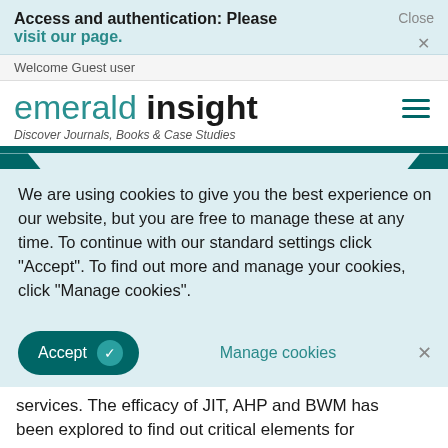Access and authentication: Please visit our page. Close ×
Welcome Guest user
emerald insight
Discover Journals, Books & Case Studies
We are using cookies to give you the best experience on our website, but you are free to manage these at any time. To continue with our standard settings click "Accept". To find out more and manage your cookies, click "Manage cookies".
Accept   Manage cookies   ×
services. The efficacy of JIT, AHP and BWM has been explored to find out critical elements for